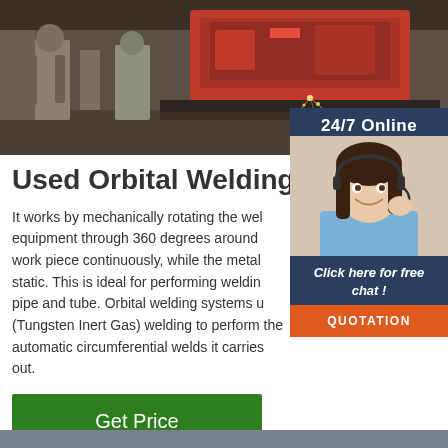[Figure (photo): Industrial welding/cutting machine in a factory setting with workers in protective gear. A large red CNC plasma or laser cutting machine with sparks visible.]
[Figure (photo): 24/7 Online chat widget with a smiling woman wearing a headset, a 'Click here for free chat!' call-to-action, and an orange QUOTATION button.]
Used Orbital Welding Equip
It works by mechanically rotating the wel equipment through 360 degrees around work piece continuously, while the metal static. This is ideal for performing weldin pipe and tube. Orbital welding systems u (Tungsten Inert Gas) welding to perform the automatic circumferential welds it carries out.
Get Price